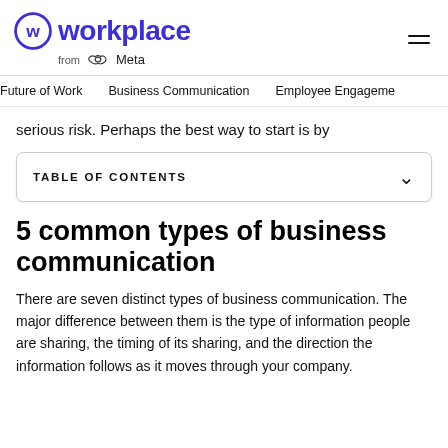Workplace from Meta
Future of Work   Business Communication   Employee Engagement
serious risk. Perhaps the best way to start is by
TABLE OF CONTENTS
5 common types of business communication
There are seven distinct types of business communication. The major difference between them is the type of information people are sharing, the timing of its sharing, and the direction the information follows as it moves through your company.